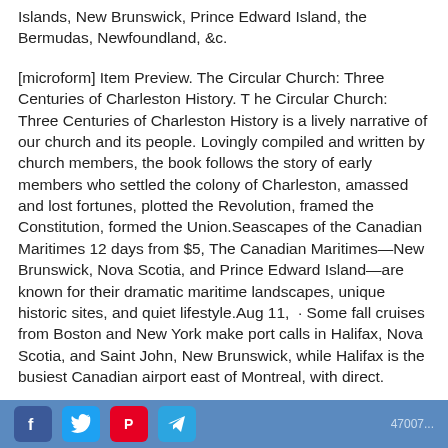Islands, New Brunswick, Prince Edward Island, the Bermudas, Newfoundland, &c.
[microform] Item Preview. The Circular Church: Three Centuries of Charleston History. T he Circular Church: Three Centuries of Charleston History is a lively narrative of our church and its people. Lovingly compiled and written by church members, the book follows the story of early members who settled the colony of Charleston, amassed and lost fortunes, plotted the Revolution, framed the Constitution, formed the Union.Seascapes of the Canadian Maritimes 12 days from $5, The Canadian Maritimes—New Brunswick, Nova Scotia, and Prince Edward Island—are known for their dramatic maritime landscapes, unique historic sites, and quiet lifestyle.Aug 11,  · Some fall cruises from Boston and New York make port calls in Halifax, Nova Scotia, and Saint John, New Brunswick, while Halifax is the busiest Canadian airport east of Montreal, with direct.
social share bar